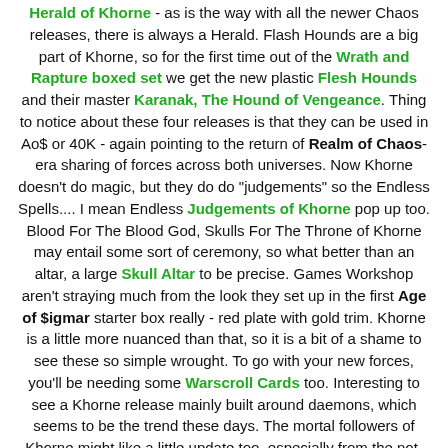Herald of Khorne - as is the way with all the newer Chaos releases, there is always a Herald. Flash Hounds are a big part of Khorne, so for the first time out of the Wrath and Rapture boxed set we get the new plastic Flesh Hounds and their master Karanak, The Hound of Vengeance. Thing to notice about these four releases is that they can be used in Ao$ or 40K - again pointing to the return of Realm of Chaos-era sharing of forces across both universes. Now Khorne doesn't do magic, but they do do "judgements" so the Endless Spells.... I mean Endless Judgements of Khorne pop up too. Blood For The Blood God, Skulls For The Throne of Khorne may entail some sort of ceremony, so what better than an altar, a large Skull Altar to be precise. Games Workshop aren't straying much from the look they set up in the first Age of $igmar starter box really - red plate with gold trim. Khorne is a little more nuanced than that, so it is a bit of a shame to see these so simple wrought. To go with your new forces, you'll be needing some Warscroll Cards too. Interesting to see a Khorne release mainly built around daemons, which seems to be the trend these days. The mortal followers of Khorne might like a little update too, especially from the not-very-exciting 1st Edition Ao$ minis we got. In books we have a doozy, which in our neck of the woods is all sold out - its the beginning of the end of the Horus Heresy and to